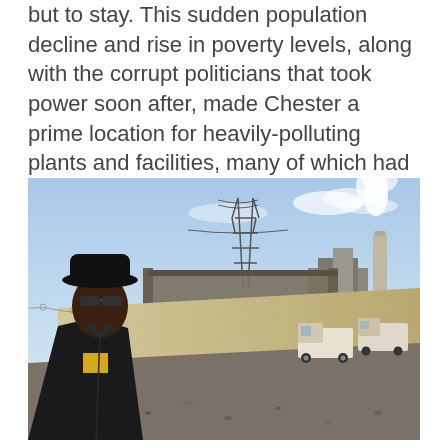but to stay. This sudden population decline and rise in poverty levels, along with the corrupt politicians that took power soon after, made Chester a prime location for heavily-polluting plants and facilities, many of which had little to no pollution controls.
[Figure (photo): A man wearing a black fedora hat, sunglasses, and a black leather jacket over a yellow shirt stands in the foreground on a gravel-strewn industrial roadside. In the background, large trucks travel along a road beside a tall concrete wall, with an industrial facility, power transmission tower, and a tall smokestack emitting white smoke visible under a partly cloudy blue sky.]